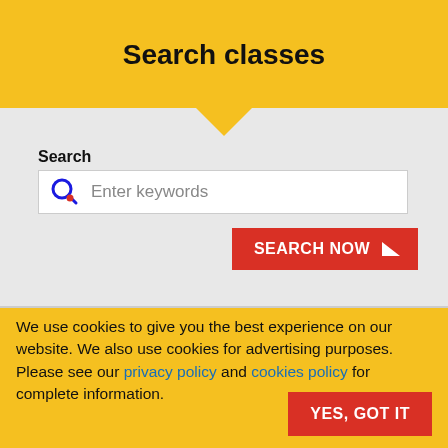Search classes
Search
[Figure (screenshot): Search input box with a Google-style magnifying glass icon and placeholder text 'Enter keywords']
[Figure (other): Red SEARCH NOW button with a white right-pointing triangle arrow]
We use cookies to give you the best experience on our website. We also use cookies for advertising purposes. Please see our privacy policy and cookies policy for complete information.
[Figure (other): Red YES, GOT IT button]